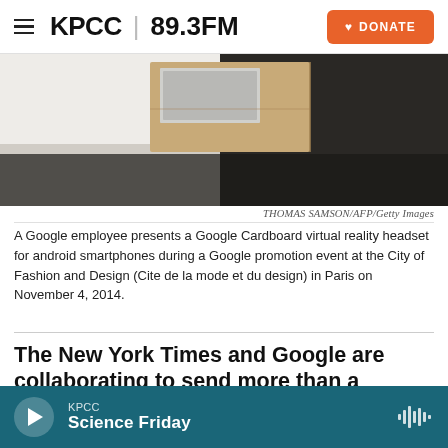KPCC 89.3FM | DONATE
[Figure (photo): A Google employee holds a Google Cardboard virtual reality headset, photographed from behind. The device and a phone screen are visible. Photo credit: THOMAS SAMSON/AFP/Getty Images]
THOMAS SAMSON/AFP/Getty Images
A Google employee presents a Google Cardboard virtual reality headset for android smartphones during a Google promotion event at the City of Fashion and Design (Cite de la mode et du design) in Paris on November 4, 2014.
The New York Times and Google are collaborating to send more than a million NYT subscribers Google Cardboard, which allows users to experience virtual reality content.
“All the news that’s fit to print” may soon become “all
KPCC
Science Friday